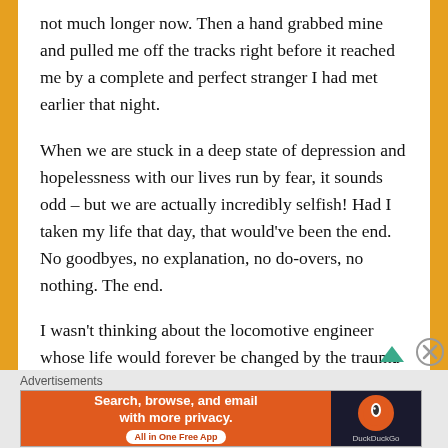not much longer now. Then a hand grabbed mine and pulled me off the tracks right before it reached me by a complete and perfect stranger I had met earlier that night.
When we are stuck in a deep state of depression and hopelessness with our lives run by fear, it sounds odd – but we are actually incredibly selfish! Had I taken my life that day, that would've been the end. No goodbyes, no explanation, no do-overs, no nothing. The end.
I wasn't thinking about the locomotive engineer whose life would forever be changed by the trauma of killing me and witnessing that. I wasn't thinking about the kind stranger. I wasn't thinking about my dog or bearded dragon, the friend I was with that night, or even the people I knew that I wasn't
Advertisements
[Figure (other): DuckDuckGo advertisement banner: orange background on left with text 'Search, browse, and email with more privacy. All in One Free App' and DuckDuckGo logo on dark right panel.]